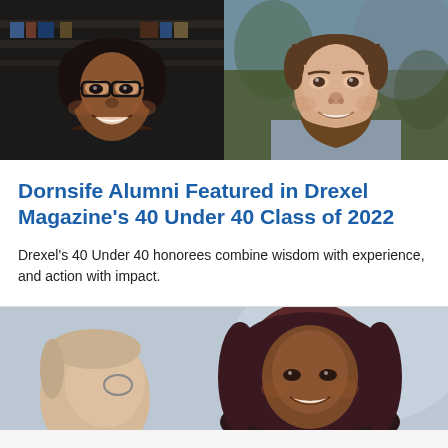[Figure (photo): Two portrait photos side by side: left shows a smiling Black woman with glasses and dark hair, wearing a black top; right shows a smiling bearded white man in a light blue checkered shirt, outdoors.]
Dornsife Alumni Featured in Drexel Magazine's 40 Under 40 Class of 2022
Drexel's 40 Under 40 honorees combine wisdom with experience, and action with impact.
[Figure (photo): A close-up photo showing two people: on the left a person with glasses partially visible from the side, and on the right a smiling Black woman wearing a dark maroon hijab.]